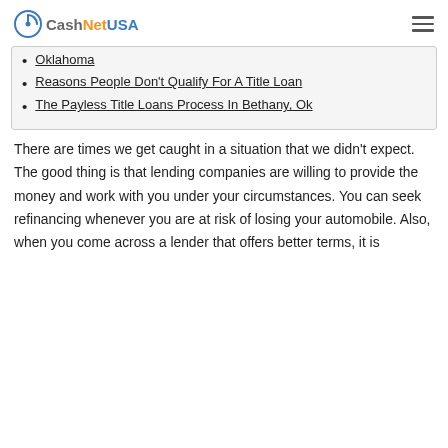CashNetUSA
Oklahoma
Reasons People Don't Qualify For A Title Loan
The Payless Title Loans Process In Bethany, Ok
There are times we get caught in a situation that we didn't expect. The good thing is that lending companies are willing to provide the money and work with you under your circumstances. You can seek refinancing whenever you are at risk of losing your automobile. Also, when you come across a lender that offers better terms, it is